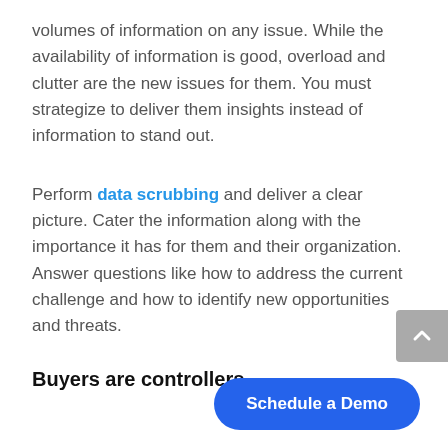volumes of information on any issue. While the availability of information is good, overload and clutter are the new issues for them. You must strategize to deliver them insights instead of information to stand out.
Perform data scrubbing and deliver a clear picture. Cater the information along with the importance it has for them and their organization. Answer questions like how to address the current challenge and how to identify new opportunities and threats.
Buyers are controllers